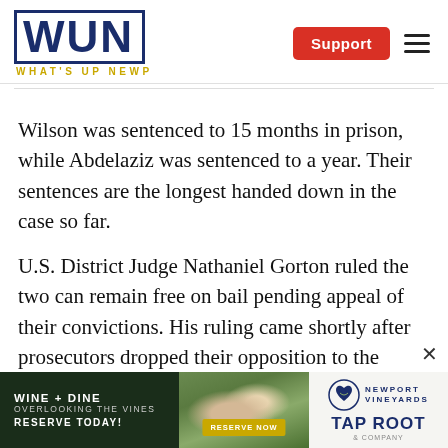WUN WHAT'S UP NEWP — Support
Wilson was sentenced to 15 months in prison, while Abdelaziz was sentenced to a year. Their sentences are the longest handed down in the case so far.
U.S. District Judge Nathaniel Gorton ruled the two can remain free on bail pending appeal of their convictions. His ruling came shortly after prosecutors dropped their opposition to the defense's bid to keep them of prison
[Figure (infographic): Newport Vineyards advertisement banner: WINE + DINE, OVERLOOKING THE VINES, RESERVE TODAY! with a photo of people dining outdoors at a vineyard, a RESERVE NOW button, and the Newport Vineyards and Taproot logos.]